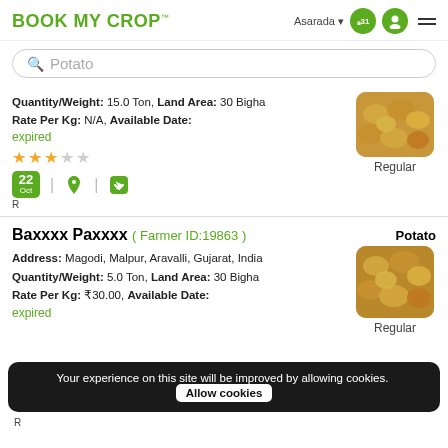BOOK MY CROP™  Asarada ▾
Potato (search bar)
Quantity/Weight: 15.0 Ton, Land Area: 30 Bigha
Rate Per Kg: N/A, Available Date:
expired
[Figure (photo): Photo of potatoes, labeled Regular]
★★★☆☆
22 Oct  R
Baxxxx Paxxxx ( Farmer ID:19863 )  Potato
Address: Magodi, Malpur, Aravalli, Gujarat, India
Quantity/Weight: 5.0 Ton, Land Area: 30 Bigha
Rate Per Kg: ₹30.00, Available Date:
expired
[Figure (photo): Photo of potatoes, labeled Regular]
Your experience on this site will be improved by allowing cookies. Allow cookies
R